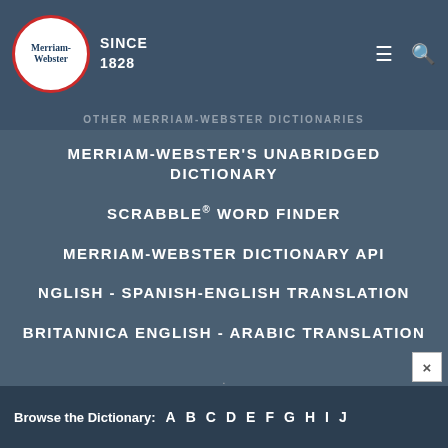Merriam-Webster SINCE 1828
OTHER MERRIAM-WEBSTER DICTIONARIES
MERRIAM-WEBSTER'S UNABRIDGED DICTIONARY
SCRABBLE® WORD FINDER
MERRIAM-WEBSTER DICTIONARY API
NGLISH - SPANISH-ENGLISH TRANSLATION
BRITANNICA ENGLISH - ARABIC TRANSLATION
Browse the Dictionary: A B C D E F G H I J